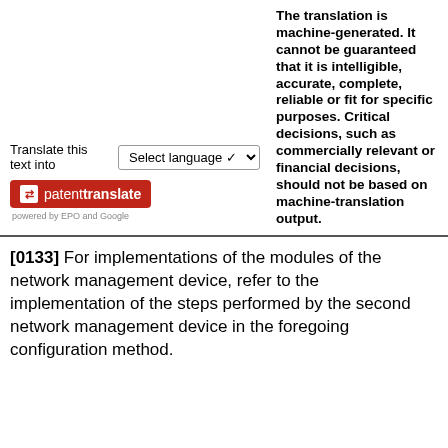The translation is machine-generated. It cannot be guaranteed that it is intelligible, accurate, complete, reliable or fit for specific purposes. Critical decisions, such as commercially relevant or financial decisions, should not be based on machine-translation output.
Translate this text into [Select language dropdown]
[Figure (logo): Patent Translate button with red background showing arrows icon and text 'patenttranslate', with 'powered by EPO and Google' underneath]
[0133] For implementations of the modules of the network management device, refer to the implementation of the steps performed by the second network management device in the foregoing configuration method.